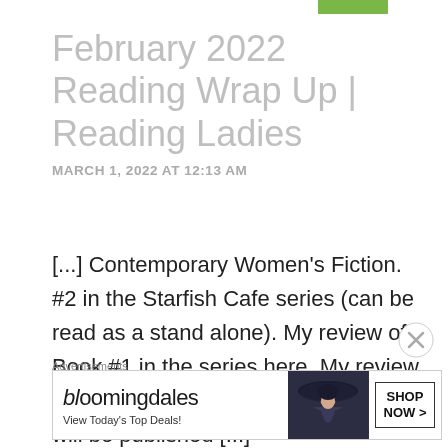February 2022 Reading Wrap Up | Reading Ladies
MARCH 1, 2022 AT 12:13 AM
[...] Contemporary Women's Fiction. #2 in the Starfish Cafe series (can be read as a stand alone). My review of Book #1 in the series here. My review of Spring Tides at the Starfish Cafe will be published [...]
Advertisements
[Figure (other): Bloomingdale's advertisement banner with logo, 'View Today's Top Deals!' tagline, a woman in a wide-brim hat, and a 'SHOP NOW >' button]